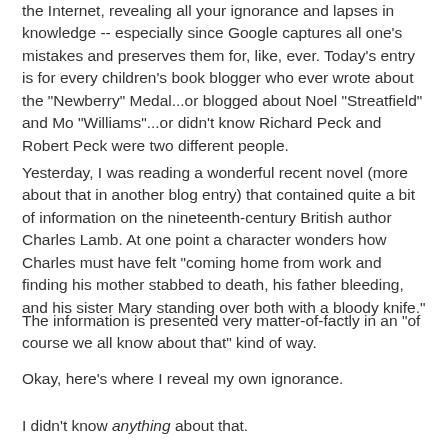the Internet, revealing all your ignorance and lapses in knowledge -- especially since Google captures all one's mistakes and preserves them for, like, ever. Today's entry is for every children's book blogger who ever wrote about the "Newberry" Medal...or blogged about Noel "Streatfield" and Mo "Williams"...or didn't know Richard Peck and Robert Peck were two different people.
Yesterday, I was reading a wonderful recent novel (more about that in another blog entry) that contained quite a bit of information on the nineteenth-century British author Charles Lamb. At one point a character wonders how Charles must have felt "coming home from work and finding his mother stabbed to death, his father bleeding, and his sister Mary standing over both with a bloody knife."
The information is presented very matter-of-factly in an "of course we all know about that" kind of way.
Okay, here's where I reveal my own ignorance.
I didn't know anything about that.